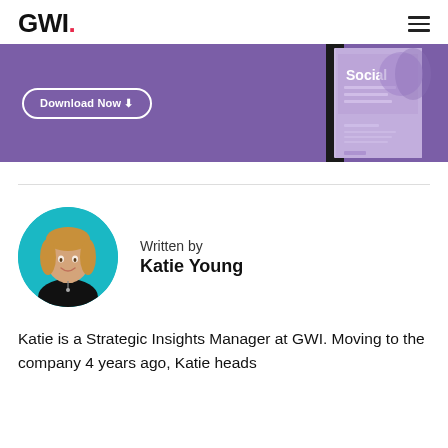GWI.
[Figure (screenshot): Purple promotional banner with 'Download Now' button and a book cover graphic showing 'Social' on a teal/purple background]
Written by
Katie Young
[Figure (photo): Circular headshot of Katie Young, a woman with blonde hair, smiling, on a teal background]
Katie is a Strategic Insights Manager at GWI. Moving to the company 4 years ago, Katie heads